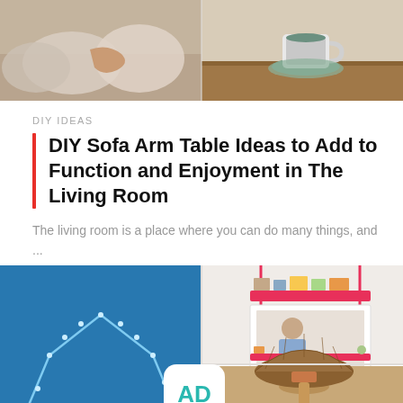[Figure (photo): Two photos side by side: left shows a person on a sofa with cushions, right shows a cup of tea/coffee on a saucer on a wooden table]
DIY IDEAS
DIY Sofa Arm Table Ideas to Add to Function and Enjoyment in The Living Room
The living room is a place where you can do many things, and ...
[Figure (photo): Grid of home decor photos: bedroom with blue wall and fairy lights forming a house shape, hanging shelf with pink rope, and bottom right partial lamp/wicker item. AD logo overlay in center.]